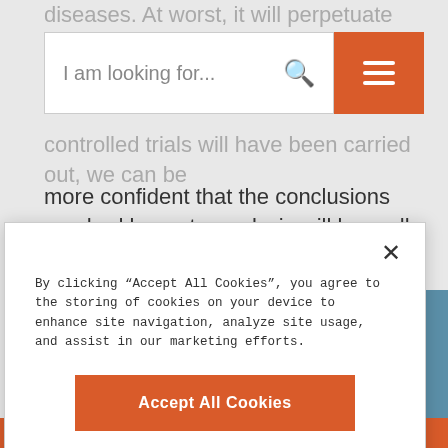diseases. At worst, it will perpetuate the funding of
[Figure (screenshot): Search bar with placeholder text 'I am looking for...' and a search icon, alongside an orange hamburger menu button]
controlled trials will have been carried out, we can be more confident that the conclusions reached by meta-analysis will be really strong and significant.
[Figure (screenshot): Cookie consent dialog with close button (×), cookie policy text, 'Accept All Cookies' orange button, and 'Cookies Settings' link]